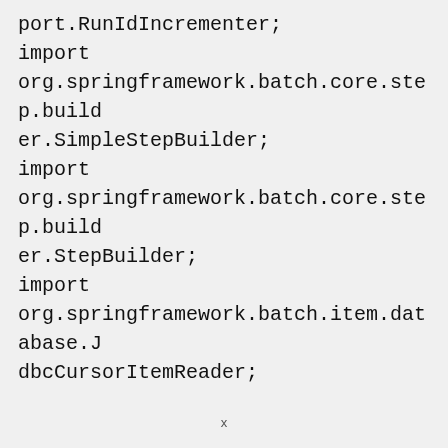port.RunIdIncrementer;
import
org.springframework.batch.core.step.builder.SimpleStepBuilder;
import
org.springframework.batch.core.step.builder.StepBuilder;
import
org.springframework.batch.item.database.JdbcCursorItemReader;
import
org.springframework.batch.item.file.FlatFileItemWriter;
import
x